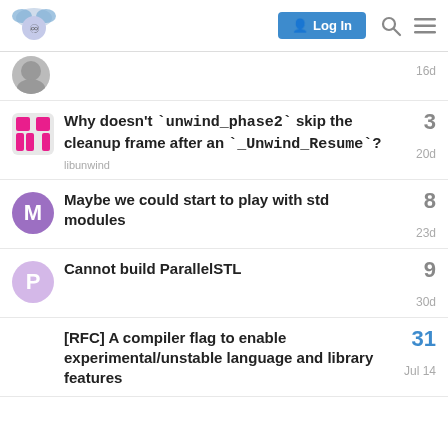Log In [search] [menu]
16d
Why doesn't `unwind_phase2` skip the cleanup frame after an `_Unwind_Resume`?
libunwind  3  20d
Maybe we could start to play with std modules
8  23d
Cannot build ParallelSTL
9  30d
[RFC] A compiler flag to enable experimental/unstable language and library features
31  Jul 14